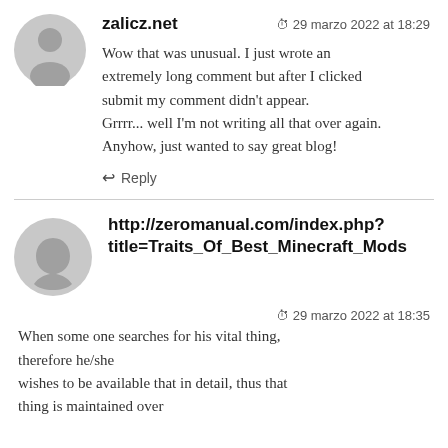zalicz.net
29 marzo 2022 at 18:29
Wow that was unusual. I just wrote an extremely long comment but after I clicked submit my comment didn't appear.
Grrrr... well I'm not writing all that over again.
Anyhow, just wanted to say great blog!
Reply
http://zeromanual.com/index.php?title=Traits_Of_Best_Minecraft_Mods
29 marzo 2022 at 18:35
When some one searches for his vital thing, therefore he/she
wishes to be available that in detail, thus that thing is maintained over